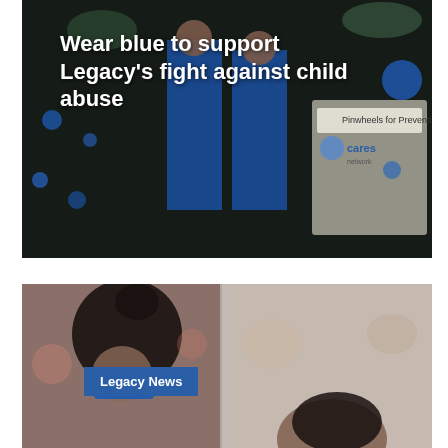[Figure (photo): Two people wearing blue shirts standing in a garden with blue pinwheel decorations and a Cares Network 'Pinwheels for Prevention' sign. The image has a dark overlay.]
Wear blue to support Legacy’s fight against child abuse
[Figure (photo): A person with curly hair pulled up, wearing a blue mask, looking downward. A second figure is visible in the background. A blue 'Legacy News' label badge is overlaid on the image.]
Legacy News